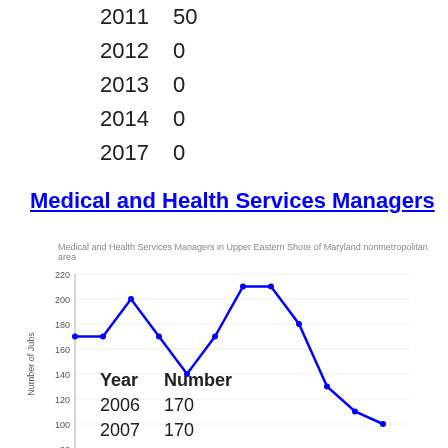| Year | Number |
| --- | --- |
| 2011 | 50 |
| 2012 | 0 |
| 2013 | 0 |
| 2014 | 0 |
| 2017 | 0 |
Medical and Health Services Managers
[Figure (line-chart): Medical and Health Services Managers in Upper Eastern Shore of Maryland nonmetropolitan area]
| Year | Number |
| --- | --- |
| 2006 | 170 |
| 2007 | 170 |